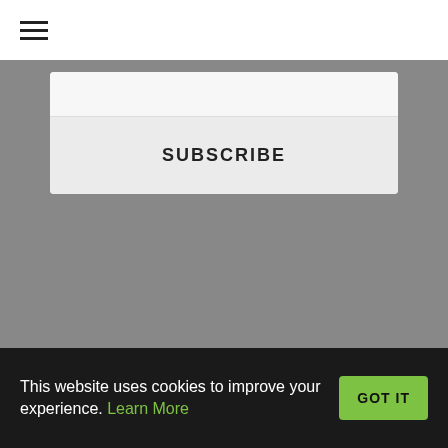[Figure (screenshot): Hamburger menu icon (three horizontal lines) in top navigation bar]
SUBSCRIBE
This website uses cookies to improve your experience. Learn More
GOT IT